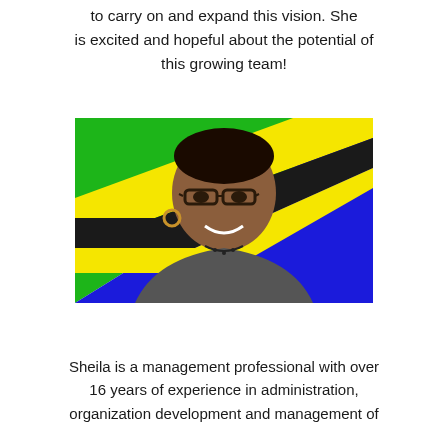to carry on and expand this vision. She is excited and hopeful about the potential of this growing team!
[Figure (photo): Portrait photo of a smiling woman wearing glasses and a blazer, with a Tanzanian flag as the background featuring green, yellow, and blue sections with black diagonal stripe.]
Sheila is a management professional with over 16 years of experience in administration, organization development and management of